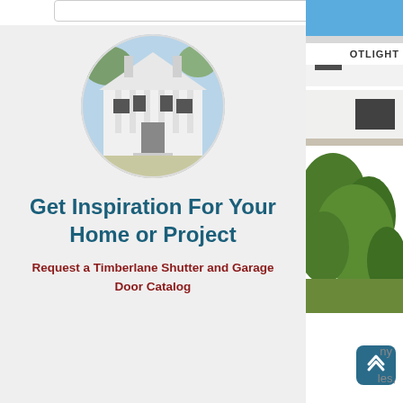[Figure (photo): Circular cropped photo of a large white colonial-style house with columns and black shutters]
Get Inspiration For Your Home or Project
Request a Timberlane Shutter and Garage Door Catalog
[Figure (photo): Right sidebar photo of a modern white house exterior with blue sky, and lush green trees below]
OTLIGHT
ny
les,